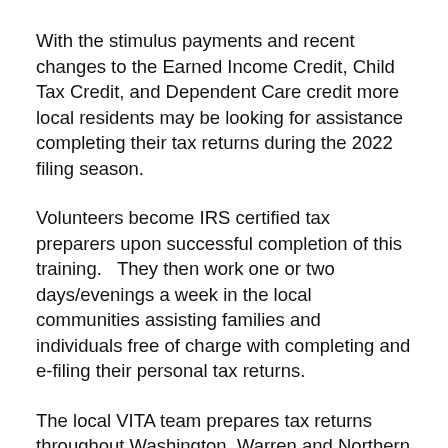With the stimulus payments and recent changes to the Earned Income Credit, Child Tax Credit, and Dependent Care credit more local residents may be looking for assistance completing their tax returns during the 2022 filing season.
Volunteers become IRS certified tax preparers upon successful completion of this training.   They then work one or two days/evenings a week in the local communities assisting families and individuals free of charge with completing and e-filing their personal tax returns.
The local VITA team prepares tax returns throughout Washington, Warren and Northern Saratoga counties during the tax filing season of January through April. Other volunteers are needed to answer phones, make the tax appointments, and serve as greeters at the tax